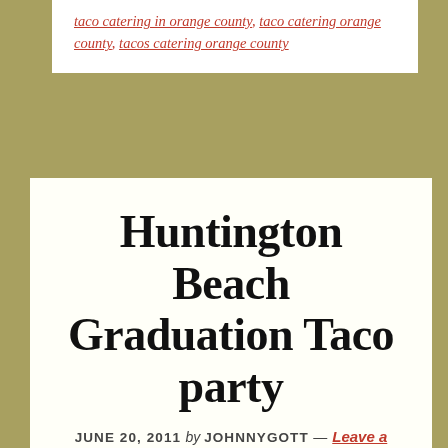taco catering in orange county, taco catering orange county, tacos catering orange county
Huntington Beach Graduation Taco party
JUNE 20, 2011 by JOHNNYGOTT — Leave a Comment
A couple of proud parents requested our Taco Cart services in Huntington Beach, to